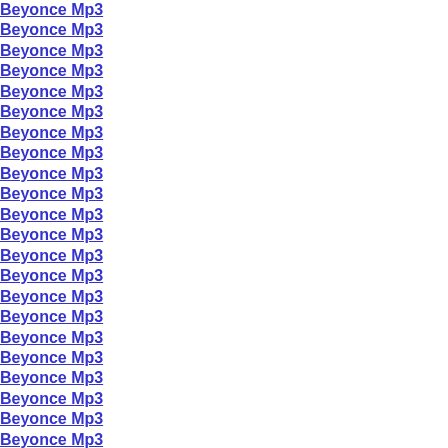Beyonce Mp3
Beyonce Mp3
Beyonce Mp3
Beyonce Mp3
Beyonce Mp3
Beyonce Mp3
Beyonce Mp3
Beyonce Mp3
Beyonce Mp3
Beyonce Mp3
Beyonce Mp3
Beyonce Mp3
Beyonce Mp3
Beyonce Mp3
Beyonce Mp3
Beyonce Mp3
Beyonce Mp3
Beyonce Mp3
Beyonce Mp3
Beyonce Mp3
Beyonce Mp3
Beyonce Mp3
Beyonce Mp3
Beyonce Mp3
Beyonce Mp3
Beyonce Mp3
Beyonce Mp3